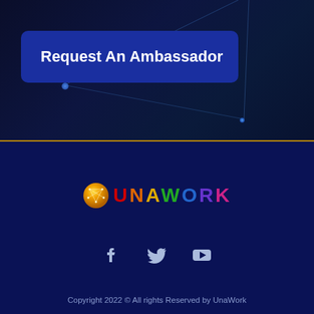[Figure (screenshot): Top banner section with dark navy background, decorative network lines and glowing dots]
Request An Ambassador
[Figure (logo): UnaWork logo with golden globe icon and colorful UNAWORK text]
[Figure (infographic): Social media icons: Facebook, Twitter, YouTube]
Copyright 2022 © All rights Reserved by UnaWork